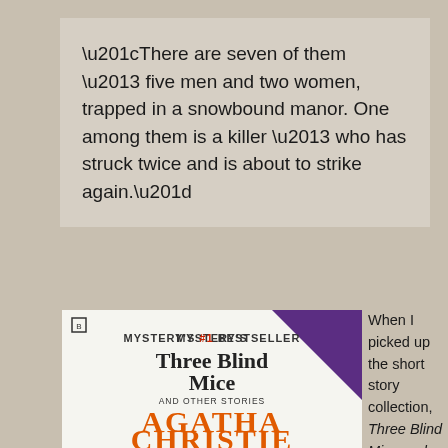“There are seven of them – five men and two women, trapped in a snowbound manor. One among them is a killer – who has struck twice and is about to strike again.”
[Figure (photo): Book cover of 'Three Blind Mice and Other Stories' by Agatha Christie, showing the title in large serif font with 'MYSTERY'S #1 BESTSELLER' at the top and the author's name in large orange letters at the bottom, with a purple triangle in the top right corner.]
When I picked up the short story collection, Three Blind Mice and Other